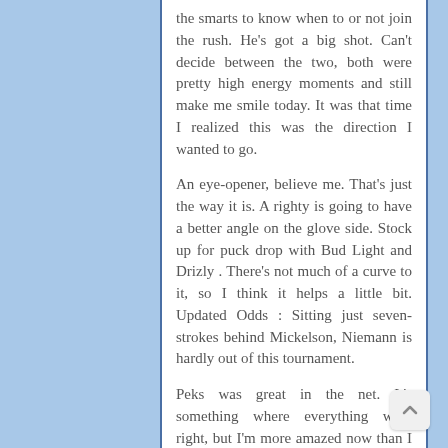the smarts to know when to or not join the rush. He's got a big shot. Can't decide between the two, both were pretty high energy moments and still make me smile today. It was that time I realized this was the direction I wanted to go.
An eye-opener, believe me. That's just the way it is. A righty is going to have a better angle on the glove side. Stock up for puck drop with Bud Light and Drizly . There's not much of a curve to it, so I think it helps a little bit. Updated Odds : Sitting just seven-strokes behind Mickelson, Niemann is hardly out of this tournament.
Peks was great in the net. It's something where everything went right, but I'm more amazed now than I was at the time. РУССКИЙ Добро пожаловать на , официальный сайт Национальной хоккейной лиги The San Jose Sharks played a tribute video for Marleau narrated